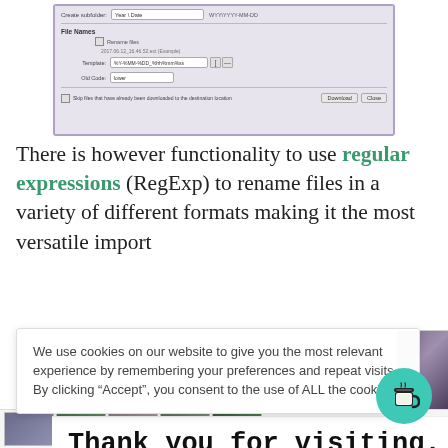[Figure (screenshot): Screenshot of a software dialog box with file naming options. Shows 'File Names' section with 'Rename files' checkbox, a template field showing '%Y-%MM-%DD_%hh%mm%ss', a preview showing '2017.06.12_16.46.52.ext (Example)', and an 'Old Code' dropdown set to 'lower'. Bottom shows a download checkbox and Download/Close buttons.]
There is however functionality to use regular expressions (RegExp) to rename files in a variety of different formats making it the most versatile import
We use cookies on our website to give you the most relevant experience by remembering your preferences and repeat visits. By clicking “Accept”, you consent to the use of ALL the cookies.
Thank you for visiting. You can now buy me a coffee!